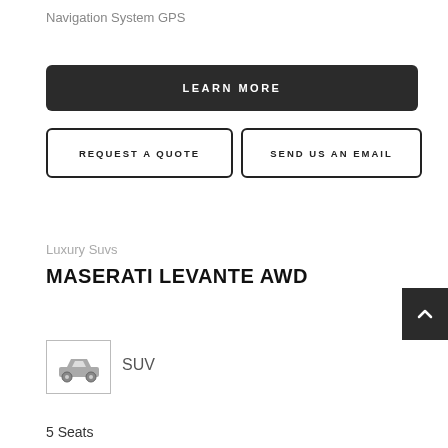Navigation System GPS
LEARN MORE
REQUEST A QUOTE
SEND US AN EMAIL
Luxury Suvs
MASERATI LEVANTE AWD
[Figure (illustration): SUV car icon inside a bordered square box]
SUV
5 Seats